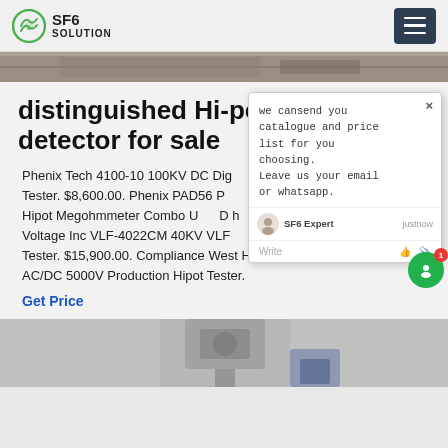SF6 SOLUTION
[Figure (photo): Top image strip showing industrial equipment]
distinguished Hi-pot SF6 detector for sale
Phenix Tech 4100-10 100KV DC Digital Hipot Tester. $8,600.00. Phenix PAD56 Portable Hipot Megohmmeter Combo Unit. High Voltage Inc VLF-4022CM 40KV VLF Cable Tester. $15,900.00. Compliance West HT-5000S AC/DC 5000V Production Hipot Tester.
Get Price
[Figure (screenshot): Chat popup overlay: we cansend you catalogue and price list for you choosing. Leave us your email or whatsapp. SF6 Expert just now. Write.]
[Figure (photo): Bottom image showing industrial valve or fitting equipment]